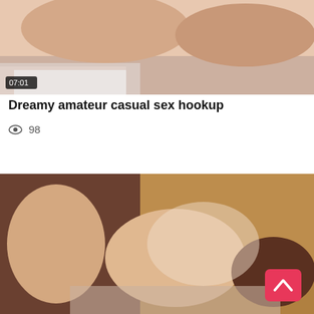[Figure (photo): Video thumbnail showing adults, with duration badge '07:01' in bottom-left corner]
Dreamy amateur casual sex hookup
👁 98
[Figure (photo): Second video thumbnail showing adults on a couch/bed]
[Figure (other): Scroll-to-top button (pink/red rounded rectangle with upward chevron arrow)]